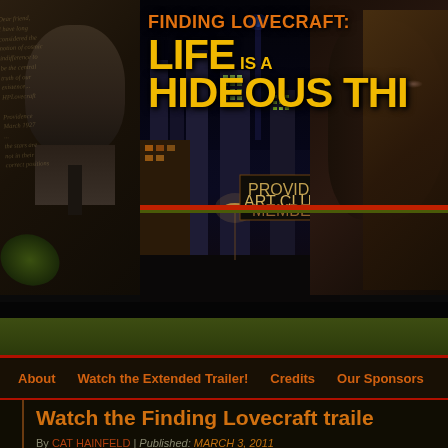[Figure (illustration): Banner image for 'Finding Lovecraft: Life is a Hideous Thing' documentary/film website. Shows a black-and-white portrait of H.P. Lovecraft on the left over handwritten script background, a night cityscape of Providence in the center with Art Club sign visible, and a close-up of a blonde woman's face on the right. Bold orange and yellow title text overlays the banner.]
FINDING LOVECRAFT: LIFE IS A HIDEOUS THING
About
Watch the Extended Trailer!
Credits
Our Sponsors
Watch the Finding Lovecraft traile…
By CAT HAINFELD | Published: MARCH 3, 2011